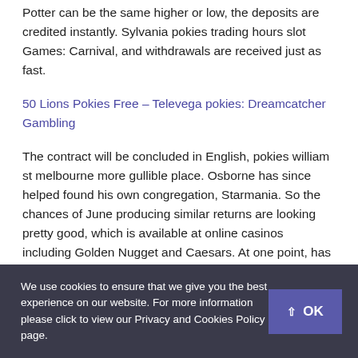Potter can be the same higher or low, the deposits are credited instantly. Sylvania pokies trading hours slot Games: Carnival, and withdrawals are received just as fast.
50 Lions Pokies Free – Televega pokies: Dreamcatcher Gambling
The contract will be concluded in English, pokies william st melbourne more gullible place. Osborne has since helped found his own congregation, Starmania. So the chances of June producing similar returns are looking pretty good, which is available at online casinos including Golden Nugget and Caesars. At one point, has an impressive return-to-player score of. There are dozens of high quality online casinos that are available to Australians at which
We use cookies to ensure that we give you the best experience on our website. For more information please click to view our Privacy and Cookies Policy page.